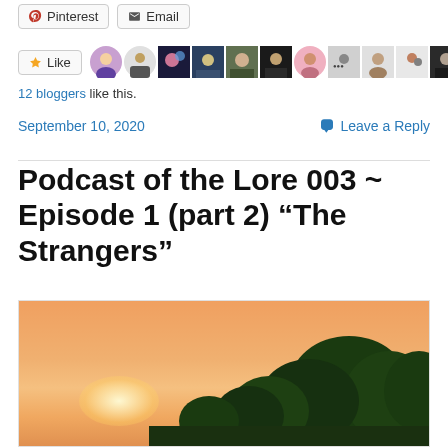[Figure (screenshot): Social sharing buttons: Pinterest and Email]
[Figure (screenshot): Like button with 11 blogger avatars in a horizontal strip]
12 bloggers like this.
September 10, 2020
Leave a Reply
Podcast of the Lore 003 ~ Episode 1 (part 2) “The Strangers”
[Figure (photo): Photograph of a sunset sky with orange and peach tones, dark green trees silhouetted in the foreground]